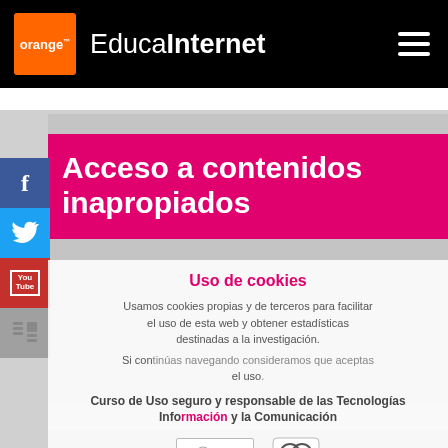[Figure (logo): Orange EducaInternet logo with navigation header on black background]
[Figure (screenshot): Website screenshot showing pink banner 'Acceso a contenidos inapropiados', cookie consent overlay with text 'Uso de cookies', and social media sidebar with Facebook, Twitter, YouTube buttons]
Acceso a contenidos inapropiados
Uso de cookies
Usamos cookies propias y de terceros para facilitar el uso de esta web y obtener estadísticas destinadas a la investigación.
Si continúas navegando consideramos que aceptas el uso.
Curso de Uso seguro y responsable de las Tecnologías Información y la Comunicación